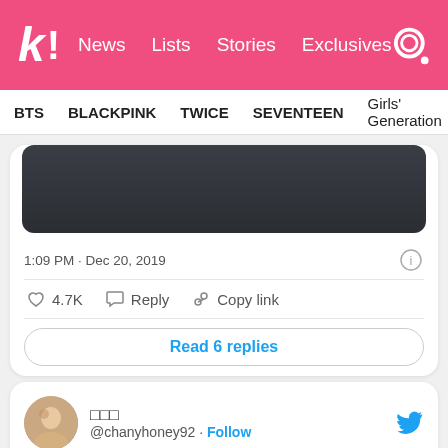K! News  Lists  Stories  Exclusives
BTS  BLACKPINK  TWICE  SEVENTEEN  Girls' Generation
[Figure (screenshot): Dark image, part of a tweet embedded content]
1:09 PM · Dec 20, 2019
♡ 4.7K  Reply  Copy link
Read 6 replies
□□□ @chanyhoney92 · Follow
Replying to @chanyhoney92
191220 #EXplOrationInMiyagi Day 1